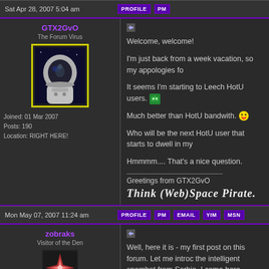Sat Apr 28, 2007 5:04 am | PROFILE | PM
GTX2GvO
The Forum Virus
Joined: 01 Mar 2007
Posts: 190
Location: RIGHT HERE!
Welcome, welcome!

I'm just back from a week vacation, so my appologies fo

It seems I'm starting to Leech HotU users.

Much better than HotU bandwith.

Who will be the next HotU user that starts to dwell in my

Hmmmm.... That's a nice question.

Greetings from GTX2GvO

Think (Web)Space Pirate.
Mon May 07, 2007 11:24 am | PROFILE | PM | EMAIL | YIM | MSN
zobraks
Visitor of the Den
Joined: 26 May 2007
Well, here it is - my first post on this forum. Let me introc the intelligent spambot from Serbia. I came here becaus ISO Art forum tried to convince me he wasn't an ESA sp

I DIDN'T COME HERE FROM HOTU. What is Hott